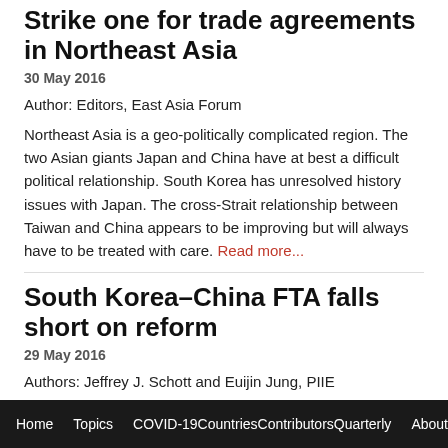Strike one for trade agreements in Northeast Asia
30 May 2016
Author: Editors, East Asia Forum
Northeast Asia is a geo-politically complicated region. The two Asian giants Japan and China have at best a difficult political relationship. South Korea has unresolved history issues with Japan. The cross-Strait relationship between Taiwan and China appears to be improving but will always have to be treated with care. Read more...
South Korea–China FTA falls short on reform
29 May 2016
Authors: Jeffrey J. Schott and Euijin Jung, PIIE
The South Korea–China Free Trade Agreement (FTA), which entered into effect in December 2015, has proved
Home   Topics   COVID-19CountriesContributorsQuarterly   About